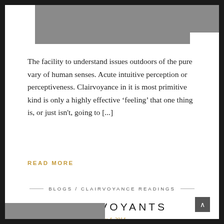[Figure (photo): Gray banner image at top of page]
The facility to understand issues outdoors of the pure vary of human senses. Acute intuitive perception or perceptiveness. Clairvoyance in it is most primitive kind is only a highly effective ‘feeling’ that one thing is, or just isn’t, going to [...]
READ MORE
BLOGS / CLAIRVOYANCE READINGS
CLAIRVOYANTS
July 4, 2014